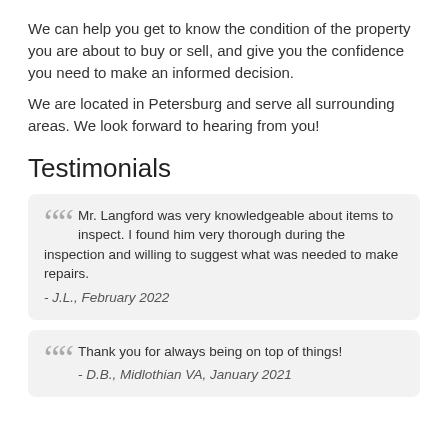We can help you get to know the condition of the property you are about to buy or sell, and give you the confidence you need to make an informed decision.
We are located in Petersburg and serve all surrounding areas. We look forward to hearing from you!
Testimonials
Mr. Langford was very knowledgeable about items to inspect. I found him very thorough during the inspection and willing to suggest what was needed to make repairs. - J.L., February 2022
Thank you for always being on top of things! - D.B., Midlothian VA, January 2021